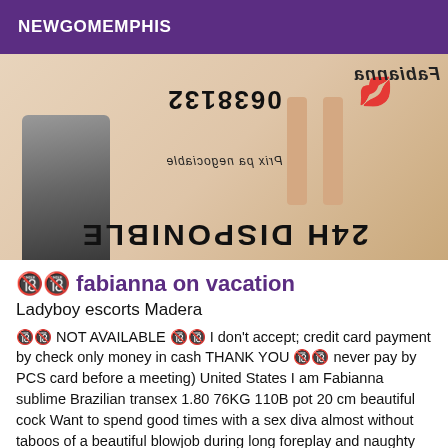NEWGOMEMPHIS
[Figure (photo): Mirrored/upside-down advertisement image showing a high-heeled boot, legs, a phone number and text '24H DISPONIBLE' and 'Prix pa negociable' rendered in mirror/flip orientation, with a red lips graphic]
🔞 fabianna on vacation
Ladyboy escorts Madera
🔞🔞 NOT AVAILABLE 🔞🔞 I don't accept; credit card payment by check only money in cash THANK YOU 🔞🔞 never pay by PCS card before a meeting) United States I am Fabianna sublime Brazilian transex 1.80 76KG 110B pot 20 cm beautiful cock Want to spend good times with a sex diva almost without taboos of a beautiful blowjob during long foreplay and naughty